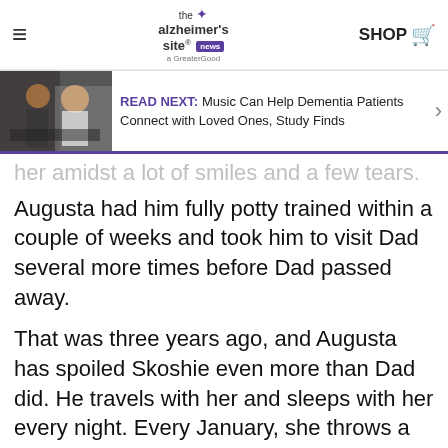the alzheimer's site news | SHOP
READ NEXT: Music Can Help Dementia Patients Connect with Loved Ones, Study Finds
her amidst a lot of smiles and a few tears.
Augusta had him fully potty trained within a couple of weeks and took him to visit Dad several more times before Dad passed away.
That was three years ago, and Augusta has spoiled Skoshie even more than Dad did. He travels with her and sleeps with her every night. Every January, she throws a birthday